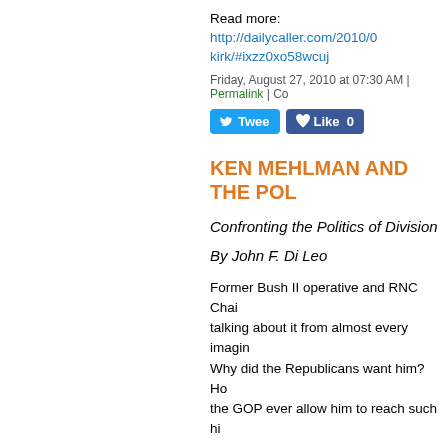Read more: http://dailycaller.com/2010/0...kirk/#ixzz0xo58wcuj
Friday, August 27, 2010 at 07:30 AM | Permalink | Co...
Tweet | Like 0
KEN MEHLMAN AND THE POL...
Confronting the Politics of Division
By John F. Di Leo
Former Bush II operative and RNC Chai... talking about it from almost every imagin... Why did the Republicans want him? Ho... the GOP ever allow him to reach such hi...
But they don't ask the important questio...
In these United States, around one or tw... two of every hundred people isn't straigh... announcement about one of them – som... American people has likely ever heard o... make national news?
Because, despite the veneer, it doesn't r...